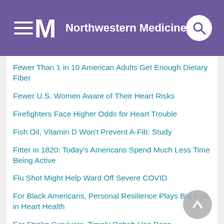Northwestern Medicine
Fewer Than 1 in 10 American Adults Get Enough Dietary Fiber
Fewer U.S. Women Aware of Their Heart Risks
Firefighters Face Higher Odds for Heart Trouble
Fish Oil, Vitamin D Won't Prevent A-Fib: Study
Fitter in 1820: Today's Americans Spend Much Less Time Being Active
Flu Shot Might Help Ward Off Severe COVID
For Black Americans, Personal Resilience Plays Big Part in Heart Health
For Stroke Survivors, Timely Rehab Has Been Jeopardized During Pandemic
For Survivors, COVID-Related Heart, Lung Issues...